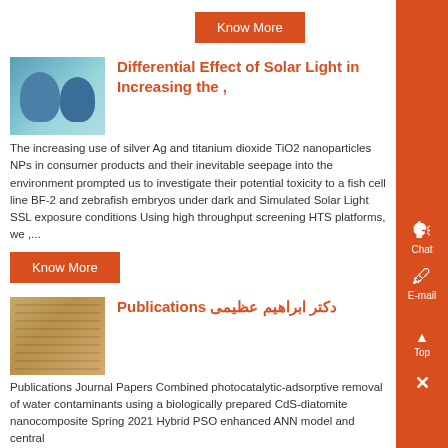Know More
[Figure (photo): Industrial machinery with blue fan-like equipment]
Differential Effect of Solar Light in Increasing the ,
The increasing use of silver Ag and titanium dioxide TiO2 nanoparticles NPs in consumer products and their inevitable seepage into the environment prompted us to investigate their potential toxicity to a fish cell line BF-2 and zebrafish embryos under dark and Simulated Solar Light SSL exposure conditions Using high throughput screening HTS platforms, we ,...
Know More
[Figure (photo): Large industrial building interior]
Publications دکتر ابراهیم عظیمی
Publications Journal Papers Combined photocatalytic-adsorptive removal of water contaminants using a biologically prepared CdS-diatomite nanocomposite Spring 2021 Hybrid PSO enhanced ANN model and central